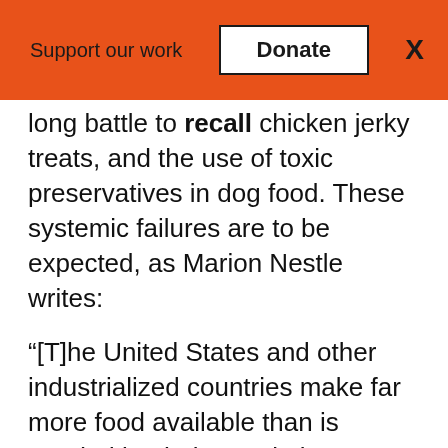Support our work   Donate   X
long battle to recall chicken jerky treats, and the use of toxic preservatives in dog food. These systemic failures are to be expected, as Marion Nestle writes:
“[T]he United States and other industrialized countries make far more food available than is needed by their populations. Overabundant food increases competition in the food industry and forces companies to do everything they can to